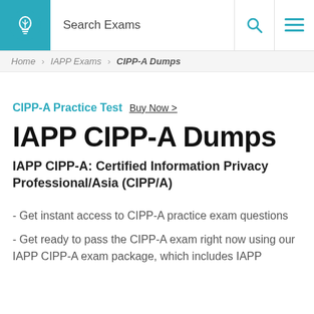Search Exams
Home > IAPP Exams > CIPP-A Dumps
CIPP-A Practice Test Buy Now >
IAPP CIPP-A Dumps
IAPP CIPP-A: Certified Information Privacy Professional/Asia (CIPP/A)
- Get instant access to CIPP-A practice exam questions
- Get ready to pass the CIPP-A exam right now using our IAPP CIPP-A exam package, which includes IAPP